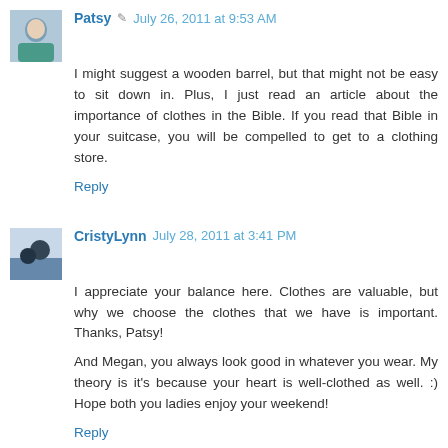Patsy  July 26, 2011 at 9:53 AM
I might suggest a wooden barrel, but that might not be easy to sit down in. Plus, I just read an article about the importance of clothes in the Bible. If you read that Bible in your suitcase, you will be compelled to get to a clothing store.
Reply
CristyLynn  July 28, 2011 at 3:41 PM
I appreciate your balance here. Clothes are valuable, but why we choose the clothes that we have is important. Thanks, Patsy!
And Megan, you always look good in whatever you wear. My theory is it's because your heart is well-clothed as well. :) Hope both you ladies enjoy your weekend!
Reply
Megan  July 30, 2011 at 7:20 PM